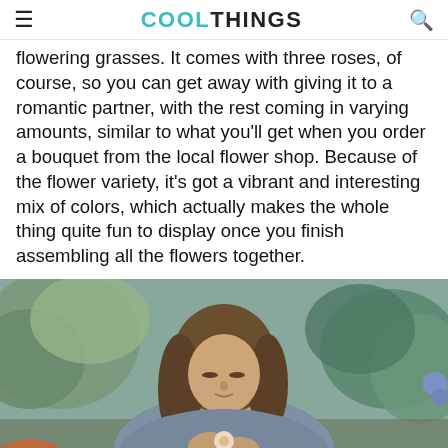COOL THINGS
flowering grasses. It comes with three roses, of course, so you can get away with giving it to a romantic partner, with the rest coming in varying amounts, similar to what you'll get when you order a bouquet from the local flower shop. Because of the flower variety, it's got a vibrant and interesting mix of colors, which actually makes the whole thing quite fun to display once you finish assembling all the flowers together.
[Figure (photo): A woman with long brown hair wearing a grey-blue jacket assembles flowers outdoors, with green plants and blurred background.]